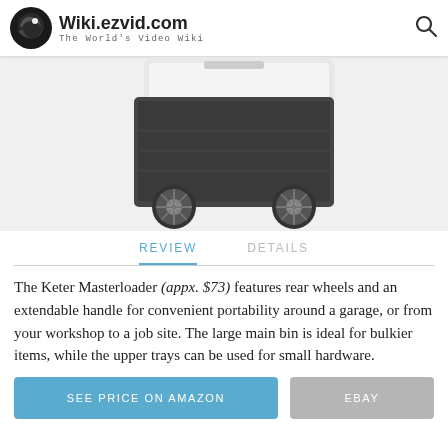Wiki.ezvid.com The World's Video Wiki
[Figure (photo): Photo of Keter Masterloader rolling tool box with rear wheels, showing the dark grey body and white lid, viewed from rear angle]
REVIEW   DETAILS
The Keter Masterloader (appx. $73) features rear wheels and an extendable handle for convenient portability around a garage, or from your workshop to a job site. The large main bin is ideal for bulkier items, while the upper trays can be used for small hardware.
SEE PRICE ON AMAZON   EBAY